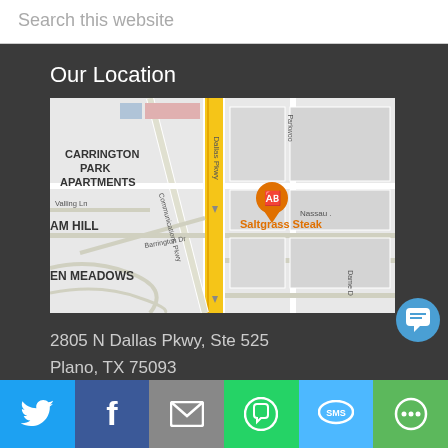Search this website
Our Location
[Figure (map): Google Maps screenshot showing area near 2805 N Dallas Pkwy, Ste 525, Plano TX 75093. Shows Carrington Park Apartments, AM Hill, EN Meadows neighborhoods, Dallas Pkwy, Communications Pkwy, Parkwood, and a Saltgrass Steak restaurant marker.]
2805 N Dallas Pkwy, Ste 525
Plano, TX 75093